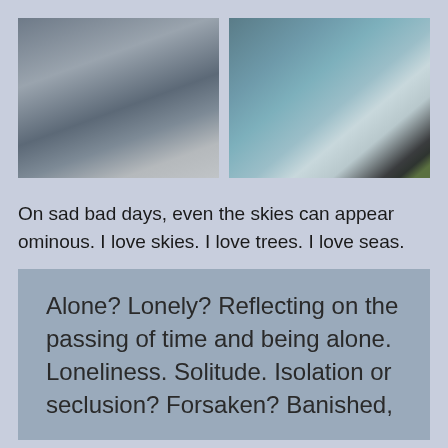[Figure (photo): Two side-by-side photos of cloudy, ominous skies. Left photo shows dark grey storm clouds. Right photo shows a lighter blue-grey sky with wispy clouds and a tree silhouette in the bottom right corner.]
On sad bad days, even the skies can appear ominous. I love skies. I love trees. I love seas.
Alone? Lonely? Reflecting on the passing of time and being alone. Loneliness. Solitude. Isolation or seclusion? Forsaken? Banished,